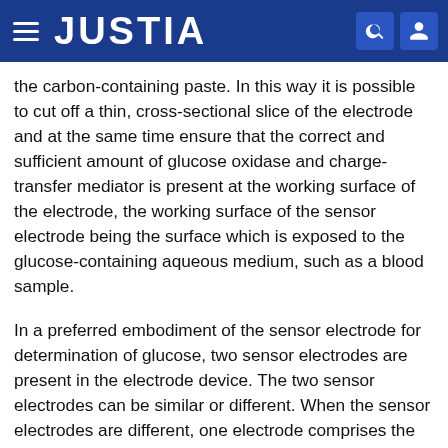JUSTIA
the carbon-containing paste. In this way it is possible to cut off a thin, cross-sectional slice of the electrode and at the same time ensure that the correct and sufficient amount of glucose oxidase and charge-transfer mediator is present at the working surface of the electrode, the working surface of the sensor electrode being the surface which is exposed to the glucose-containing aqueous medium, such as a blood sample.
In a preferred embodiment of the sensor electrode for determination of glucose, two sensor electrodes are present in the electrode device. The two sensor electrodes can be similar or different. When the sensor electrodes are different, one electrode comprises the glucose oxidase in an active form and the other comprises the glucose oxidase in an inactive form which has been inactivated by heat denaturation at 50.degree.